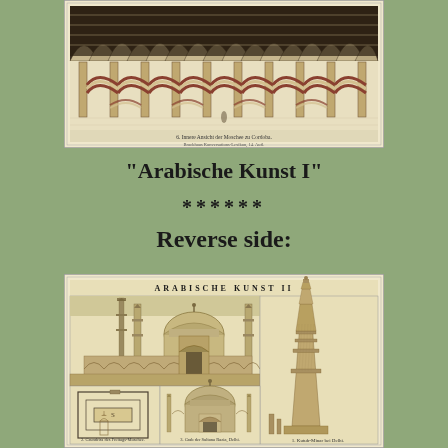[Figure (illustration): Top portion of an antique engraving plate titled 'Arabische Kunst I' showing interior arched corridors with ornate Moorish architecture columns and decorative arches, likely the Mezquita in Cordoba.]
"Arabische Kunst I"
******
Reverse side:
[Figure (illustration): Antique engraving plate titled 'Arabische Kunst II' showing multiple views of Islamic architecture including a large mosque with domes and minarets, a floor plan, a domed tomb structure, and a tall minaret tower (Qutb Minar, Delhi).]